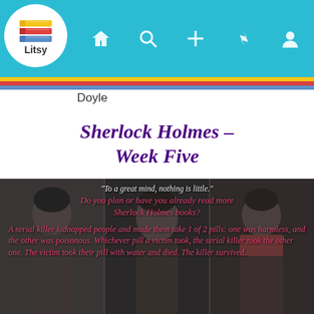[Figure (screenshot): Litsy app logo in white circle with colorful book stack icon and 'Litsy' text below]
Navigation bar with home, search, plus, lightning, and profile icons on teal background
Doyle
Sherlock Holmes – Week Five
[Figure (photo): Photo collage of three actors portraying Sherlock Holmes characters (Benedict Cumberbatch, Robert Downey Jr., and Jonny Lee Miller) with pink italic text overlaid: quote 'To a great mind, nothing is little.', question 'Do you plan or have you already read more Sherlock Holmes books?', and story 'A serial killer kidnapped people and made them take 1 of 2 pills: one was harmless, and the other was poisonous. Whichever pill a victim took, the serial killer took the other one. The victim took their pill with water and died. The killer survived.']